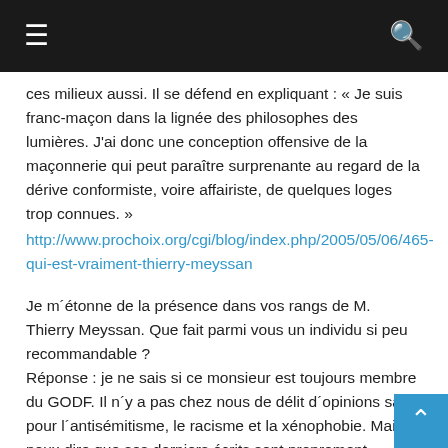☰ [menu] [search]
ces milieux aussi. Il se défend en expliquant : « Je suis franc-maçon dans la lignée des philosophes des lumières. J'ai donc une conception offensive de la maçonnerie qui peut paraître surprenante au regard de la dérive conformiste, voire affairiste, de quelques loges trop connues. »
http://www.prochoix.org/cgi/blog/index.php/2005/05/06/465-qui-est-vraiment-thierry-meyssan
Je m´étonne de la présence dans vos rangs de M. Thierry Meyssan. Que fait parmi vous un individu si peu recommandable ?
Réponse : je ne sais si ce monsieur est toujours membre du GODF. Il n´y a pas chez nous de délit d´opinions sauf pour l´antisémitisme, le racisme et la xénophobie. Mais je peux dire que ses derniers écrits sont proprement inacceptables.